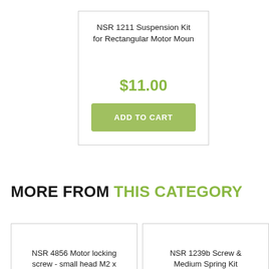NSR 1211 Suspension Kit for Rectangular Motor Moun
$11.00
ADD TO CART
MORE FROM THIS CATEGORY
NSR 4856 Motor locking screw - small head M2 x
NSR 1239b Screw & Medium Spring Kit